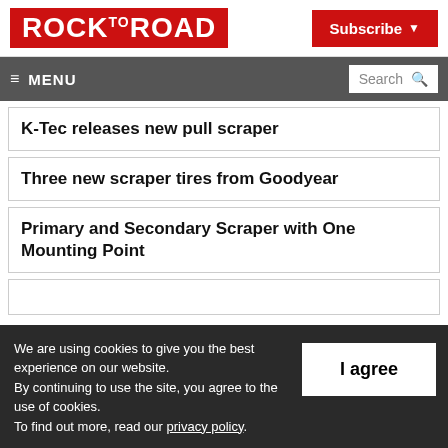ROCK TO ROAD | Subscribe
MENU | Search
K-Tec releases new pull scraper
Three new scraper tires from Goodyear
Primary and Secondary Scraper with One Mounting Point
We are using cookies to give you the best experience on our website. By continuing to use the site, you agree to the use of cookies. To find out more, read our privacy policy.